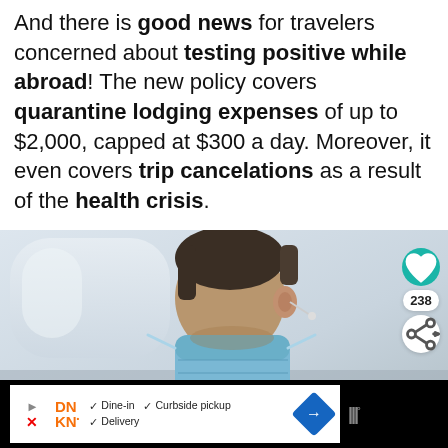And there is good news for travelers concerned about testing positive while abroad! The new policy covers quarantine lodging expenses of up to $2,000, capped at $300 a day. Moreover, it even covers trip cancelations as a result of the health crisis.
[Figure (photo): A man wearing a blue surgical mask seated on an airplane, looking down. Overlay icons show a teal heart button with 238 likes and a share button. A 'What's Next' card shows Colombia Launching... with a colorful thumbnail.]